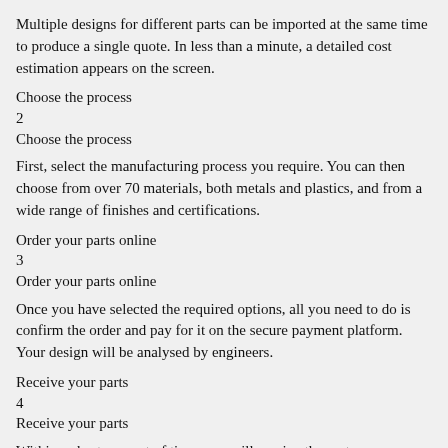Multiple designs for different parts can be imported at the same time to produce a single quote. In less than a minute, a detailed cost estimation appears on the screen.
Choose the process
2
Choose the process
First, select the manufacturing process you require. You can then choose from over 70 materials, both metals and plastics, and from a wide range of finishes and certifications.
Order your parts online
3
Order your parts online
Once you have selected the required options, all you need to do is confirm the order and pay for it on the secure payment platform. Your design will be analysed by engineers.
Receive your parts
4
Receive your parts
Within a short amount of time, you will receive the parts you ordered, delivered to your specified address. You can track your